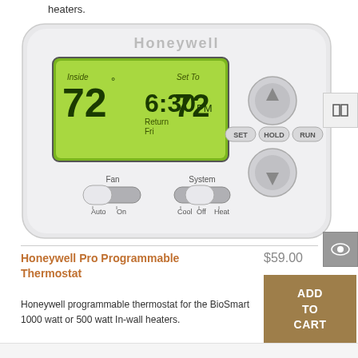heaters.
[Figure (photo): Honeywell Pro Programmable Thermostat device photo showing LCD display with 72 degrees, time 6:30 PM, SET/HOLD/RUN buttons, Fan and System toggle switches.]
Honeywell Pro Programmable Thermostat
$59.00
Honeywell programmable thermostat for the BioSmart 1000 watt or 500 watt In-wall heaters.
ADD TO CART